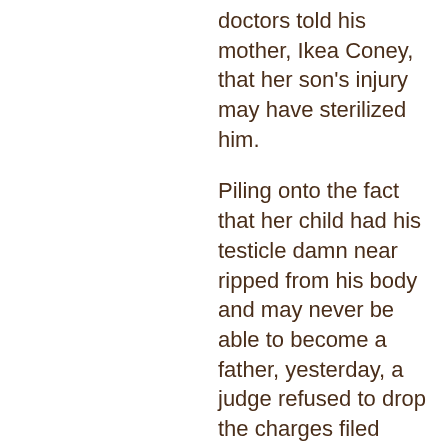doctors told his mother, Ikea Coney, that her son's injury may have sterilized him.
Piling onto the fact that her child had his testicle damn near ripped from his body and may never be able to become a father, yesterday, a judge refused to drop the charges filed against Darrin, and set a March 7 trial date for the teen.
Darrin's lawyer refuses to let the teen speak to police and is calling for a federal investigation; he says Darrin's arrest and pat-down not only violates civil right law, but